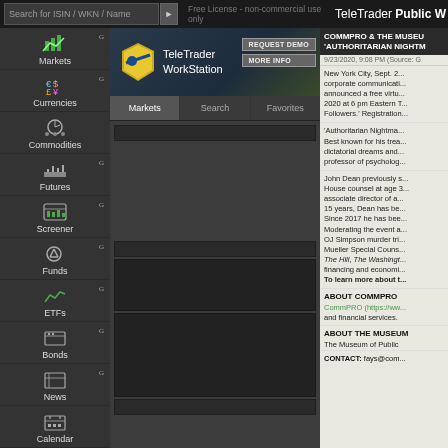Search for ISIN / WKN / Name | Free License - non-commercial use only | TeleTrader Public W
[Figure (screenshot): TeleTrader WorkStation application interface with navigation sidebar showing Markets, Currencies, Commodities, Futures, Screener, Funds, ETFs, Bonds, News, Calendar, Economic Data, Portfolio, Watchlists menus. Main panel shows TeleTrader WorkStation header with REQUEST DEMO and MORE INFO buttons, Markets/Search/Favorites tabs, and dark content panels.]
COMMPRO & THE MUSEUM 'AUTHORITARIAN NIGHTM
9/23/2020, 9:08 PM (Source: G
New York City, Sept. 2... corporate communicati... announced a free virtu... 2020 at 6 pm Eastern T... Followers.' Registration...
'Authoritarian Nightma... Best known for his trea... dictatorial dreams and... professor of psycholog...
John Dean previously s... House counsel at age 3... associate director of a... 15 years, Dean has be... Since 2017 he has bee... Moderating the event a... OJ Simpson murder tri... Mueller Special Couns... The Hill, The Washingt... financing and economi... To learn more about t...
ABOUT COMMPRO
CommPRO (https://ww... and financial services.
ABOUT THE MUSEUM
The Museum of Public
CONTACT: fays@com...